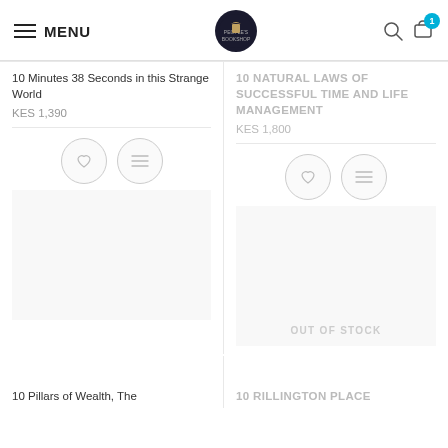[Figure (screenshot): Website header with hamburger menu labeled MENU, circular dark logo in center, search icon and cart icon with badge showing 1 on the right]
10  Minutes 38 Seconds in this Strange World
KES 1,390
10  NATURAL  LAWS OF SUCCESSFUL TIME AND  LIFE  MANAGEMENT
KES 1,800
OUT OF STOCK
10  Pillars of Wealth, The
10  RILLINGTON  PLACE